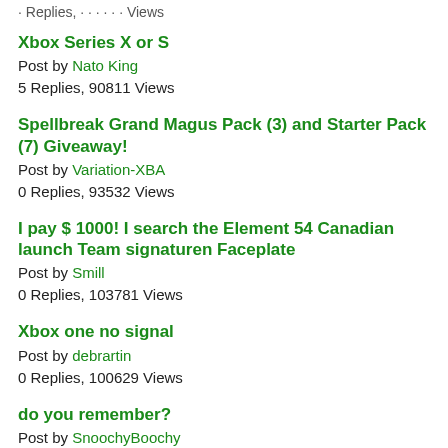Xbox Series X or S
Post by Nato King
5 Replies, 90811 Views
Spellbreak Grand Magus Pack (3) and Starter Pack (7) Giveaway!
Post by Variation-XBA
0 Replies, 93532 Views
I pay $ 1000! I search the Element 54 Canadian launch Team signaturen Faceplate
Post by Smill
0 Replies, 103781 Views
Xbox one no signal
Post by debrartin
0 Replies, 100629 Views
do you remember?
Post by SnoochyBoochy
3 Replies, 113311 Views